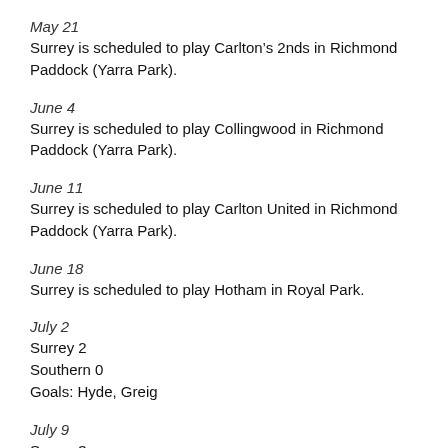May 21
Surrey is scheduled to play Carlton’s 2nds in Richmond Paddock (Yarra Park).
June 4
Surrey is scheduled to play Collingwood in Richmond Paddock (Yarra Park).
June 11
Surrey is scheduled to play Carlton United in Richmond Paddock (Yarra Park).
June 18
Surrey is scheduled to play Hotham in Royal Park.
July 2
Surrey 2
Southern 0
Goals: Hyde, Greig
July 9
Surrey 3